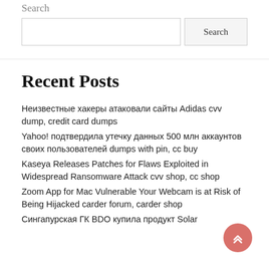Search
Search input and button
Recent Posts
Неизвестные хакеры атаковали сайты Adidas cvv dump, credit card dumps
Yahoo! подтвердила утечку данных 500 млн аккаунтов своих пользователей dumps with pin, cc buy
Kaseya Releases Patches for Flaws Exploited in Widespread Ransomware Attack cvv shop, cc shop
Zoom App for Mac Vulnerable Your Webcam is at Risk of Being Hijacked carder forum, carder shop
Сингапурская ГК BDO купила продукт Solar